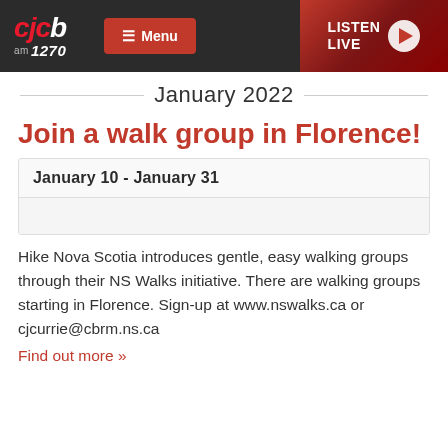CJCB AM 1270 | Menu | LISTEN LIVE
January 2022
Join a walk group in Florence!
January 10 - January 31
Hike Nova Scotia introduces gentle, easy walking groups through their NS Walks initiative. There are walking groups starting in Florence. Sign-up at www.nswalks.ca or cjcurrie@cbrm.ns.ca
Find out more »